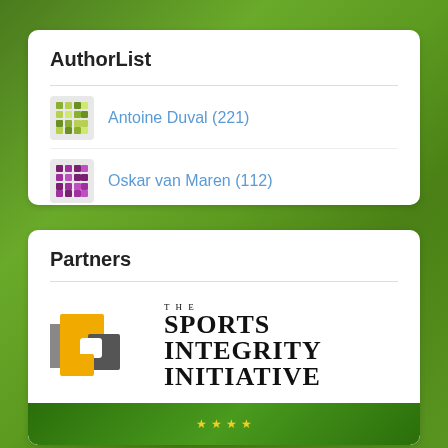AuthorList
Antoine Duval (221)
Oskar van Maren (112)
Partners
[Figure (logo): The Sports Integrity Initiative logo with interlocking geometric shapes in yellow and grey and bold serif text reading THE SPORTS INTEGRITY INITIATIVE]